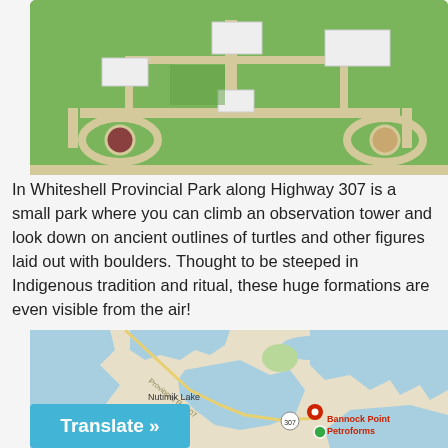[Figure (photo): Aerial photograph showing farm buildings, driveways, and green lawns with circular features and paths, viewed from above.]
In Whiteshell Provincial Park along Highway 307 is a small park where you can climb an observation tower and look down on ancient outlines of turtles and other figures laid out with boulders. Thought to be steeped in Indigenous tradition and ritual, these huge formations are even visible from the air!
[Figure (map): Google Maps screenshot showing the area around Bannock Point Petroforms near Nutimik Lake along Provincial Rd 307 in Whiteshell Provincial Park. A red location pin marks Bannock Point Petroforms.]
Translate »